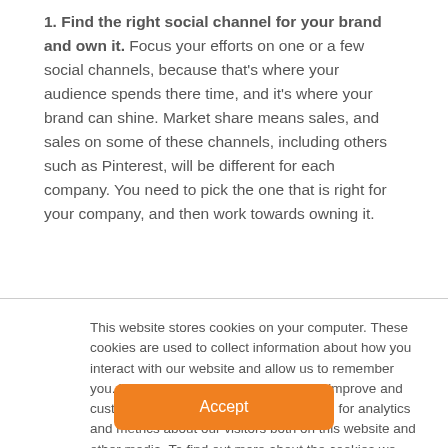1. Find the right social channel for your brand and own it. Focus your efforts on one or a few social channels, because that's where your audience spends there time, and it's where your brand can shine. Market share means sales, and sales on some of these channels, including others such as Pinterest, will be different for each company. You need to pick the one that is right for your company, and then work towards owning it.
This website stores cookies on your computer. These cookies are used to collect information about how you interact with our website and allow us to remember you. We use this information in order to improve and customize your browsing experience and for analytics and metrics about our visitors both on this website and other media. To find out more about the cookies we use, see our Privacy Policy